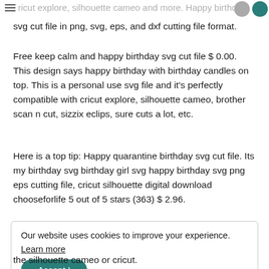cricut explore, silhouette cameo and more. Happy birthday
svg cut file in png, svg, eps, and dxf cutting file format.
Free keep calm and happy birthday svg cut file $ 0.00. This design says happy birthday with birthday candles on top. This is a personal use svg file and it’s perfectly compatible with cricut explore, silhouette cameo, brother scan n cut, sizzix eclips, sure cuts a lot, etc.
Here is a top tip: Happy quarantine birthday svg cut file. Its my birthday svg birthday girl svg happy birthday svg png eps cutting file, cricut silhouette digital download chooseforlife 5 out of 5 stars (363) $ 2.96.
Our website uses cookies to improve your experience. Learn more Accept !
the silhouette cameo or cricut.